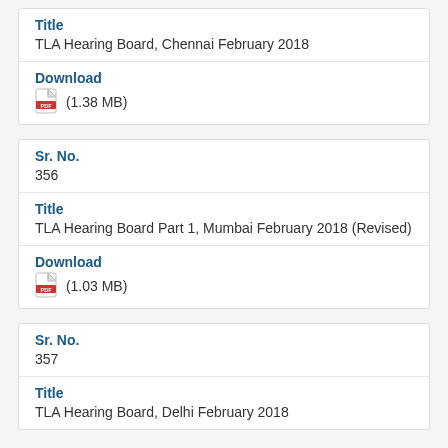Title
TLA Hearing Board, Chennai February 2018
Download
(1.38 MB)
Sr. No.
356
Title
TLA Hearing Board Part 1, Mumbai February 2018 (Revised)
Download
(1.03 MB)
Sr. No.
357
Title
TLA Hearing Board, Delhi February 2018